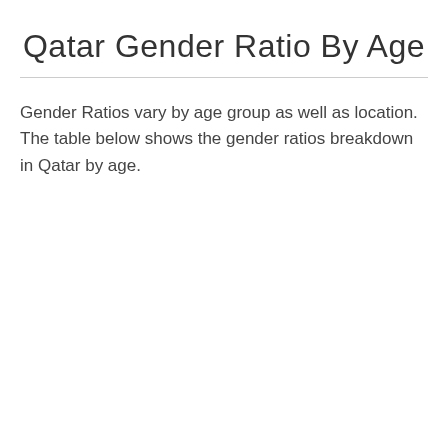Qatar Gender Ratio By Age
Gender Ratios vary by age group as well as location. The table below shows the gender ratios breakdown in Qatar by age.